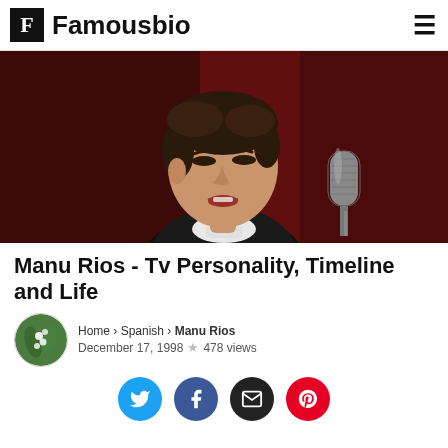F Famousbio
[Figure (photo): Young man singing into a studio microphone against a dark red background, wearing a black sweater with white collar]
Manu Rios - Tv Personality, Timeline and Life
Home › Spanish › Manu Rios
December 17, 1998 ★ 478 views